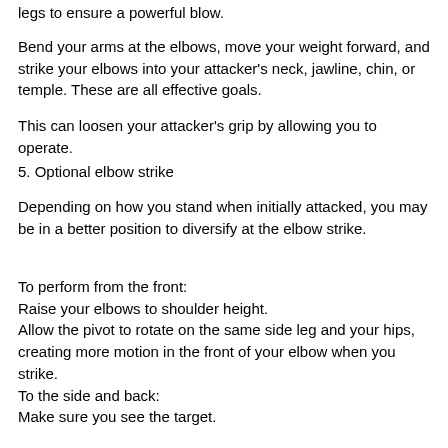legs to ensure a powerful blow.
Bend your arms at the elbows, move your weight forward, and strike your elbows into your attacker's neck, jawline, chin, or temple. These are all effective goals.
This can loosen your attacker's grip by allowing you to operate.
5. Optional elbow strike
Depending on how you stand when initially attacked, you may be in a better position to diversify at the elbow strike.
To perform from the front:
Raise your elbows to shoulder height.
Allow the pivot to rotate on the same side leg and your hips, creating more motion in the front of your elbow when you strike.
To the side and back:
Make sure you see the target.